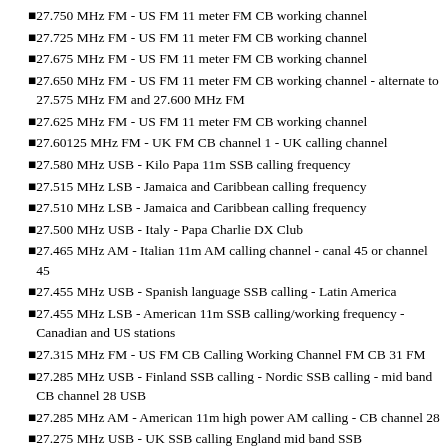27.750 MHz FM - US FM 11 meter FM CB working channel
27.725 MHz FM - US FM 11 meter FM CB working channel
27.675 MHz FM - US FM 11 meter FM CB working channel
27.650 MHz FM - US FM 11 meter FM CB working channel - alternate to 27.575 MHz FM and 27.600 MHz FM
27.625 MHz FM - US FM 11 meter FM CB working channel
27.60125 MHz FM - UK FM CB channel 1 - UK calling channel
27.580 MHz USB - Kilo Papa 11m SSB calling frequency
27.515 MHz LSB - Jamaica and Caribbean calling frequency
27.510 MHz LSB - Jamaica and Caribbean calling frequency
27.500 MHz USB - Italy - Papa Charlie DX Club
27.465 MHz AM - Italian 11m AM calling channel - canal 45 or channel 45
27.455 MHz USB - Spanish language SSB calling - Latin America
27.455 MHz LSB - American 11m SSB calling/working frequency - Canadian and US stations
27.315 MHz FM - US FM CB Calling Working Channel FM CB 31 FM
27.285 MHz USB - Finland SSB calling - Nordic SSB calling - mid band CB channel 28 USB
27.285 MHz AM - American 11m high power AM calling - CB channel 28
27.275 MHz USB - UK SSB calling England mid band SSB